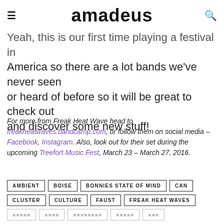amadeus
Yeah, this is our first time playing a festival in America so there are a lot bands we've never seen or heard of before so it will be great to check out and discover some new stuff!
For more from Freak Heat Wave head to freakheatwaves.bandcamp.com, or follow them on social media – Facebook, Instagram. Also, look out for their set during the upcoming Treefort Music Fest, March 23 – March 27, 2016.
AMBIENT
BOISE
BONNIES STATE OF MIND
CAN
CLUSTER
CULTURE
FAUST
FREAK HEAT WAVES